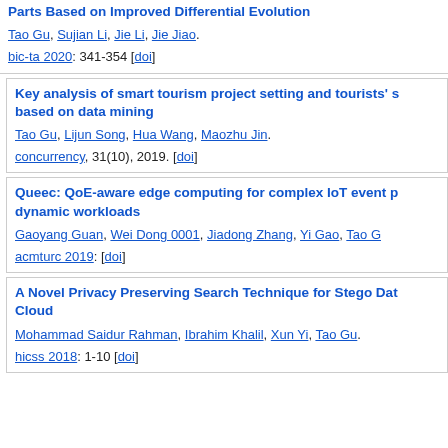Parts Based on Improved Differential Evolution
Tao Gu, Sujian Li, Jie Li, Jie Jiao.
bic-ta 2020: 341-354 [doi]
Key analysis of smart tourism project setting and tourists' s based on data mining
Tao Gu, Lijun Song, Hua Wang, Maozhu Jin.
concurrency, 31(10), 2019. [doi]
Queec: QoE-aware edge computing for complex IoT event p dynamic workloads
Gaoyang Guan, Wei Dong 0001, Jiadong Zhang, Yi Gao, Tao G
acmturc 2019: [doi]
A Novel Privacy Preserving Search Technique for Stego Dat Cloud
Mohammad Saidur Rahman, Ibrahim Khalil, Xun Yi, Tao Gu.
hicss 2018: 1-10 [doi]